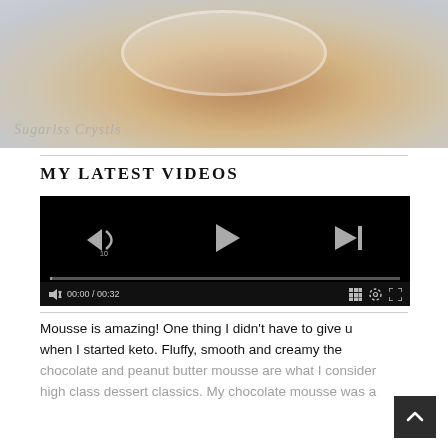[Figure (photo): A close-up photo of a dessert (mousse) in a white ramekin on a grey surface, with a watermark text 'Sugarlss Crystals' in the lower left corner]
MY LATEST VIDEOS
[Figure (screenshot): An embedded video player showing a black screen with playback controls: rewind 10s button, play button, and skip-to-next button in the center; a progress bar at the bottom; and a bottom bar with mute icon, timestamp '00:00 / 00:32', playlist grid icon, settings gear icon, and fullscreen icon]
Mousse is amazing! One thing I didn't have to give up when I started keto. Fluffy, smooth and creamy the chocolate and peanut butter mousse are what I consider high class dessert classics. My chocolate mousse was a